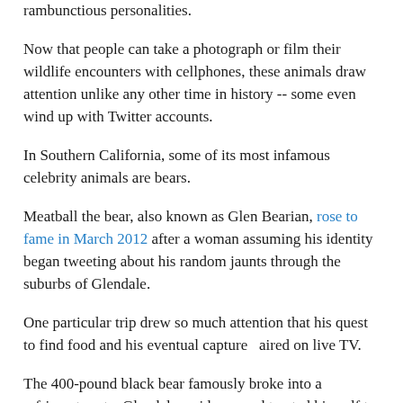rambunctious personalities.
Now that people can take a photograph or film their wildlife encounters with cellphones, these animals draw attention unlike any other time in history -- some even wind up with Twitter accounts.
In Southern California, some of its most infamous celebrity animals are bears.
Meatball the bear, also known as Glen Bearian, rose to fame in March 2012 after a woman assuming his identity began tweeting about his random jaunts through the suburbs of Glendale.
One particular trip drew so much attention that his quest to find food and his eventual capture  aired on live TV.
The 400-pound black bear famously broke into a refrigerator at a Glendale residence and treated himself to Costco meatballs. The persistent bear returned again and again to the city’s neighborhoods, foraging for tossed-away food.